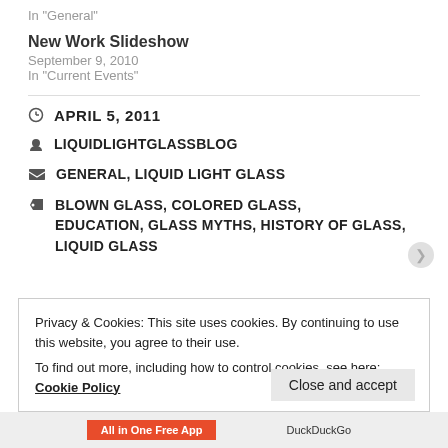In "General"
New Work Slideshow
September 9, 2010
In "Current Events"
APRIL 5, 2011
LIQUIDLIGHTGLASSBLOG
GENERAL, LIQUID LIGHT GLASS
BLOWN GLASS, COLORED GLASS, EDUCATION, GLASS MYTHS, HISTORY OF GLASS, LIQUID GLASS
Privacy & Cookies: This site uses cookies. By continuing to use this website, you agree to their use.
To find out more, including how to control cookies, see here: Cookie Policy
Close and accept